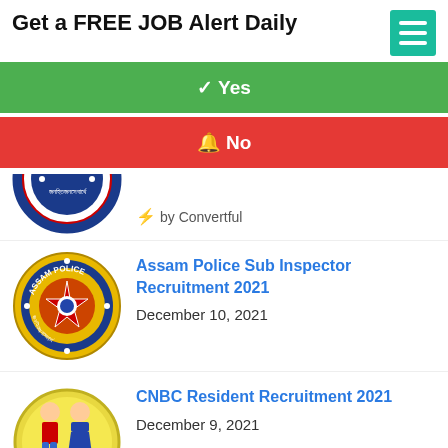Get a FREE JOB Alert Daily
✓ Yes
🔔 No
[Figure (logo): Partial circular badge with Bengali text at bottom]
⚡ by Convertful
[Figure (logo): Assam Police circular badge with yellow border]
Assam Police Sub Inspector Recruitment 2021
December 10, 2021
[Figure (logo): Chacha Nehru Bal Chikitsalaya circular badge partially visible]
CNBC Resident Recruitment 2021
December 9, 2021